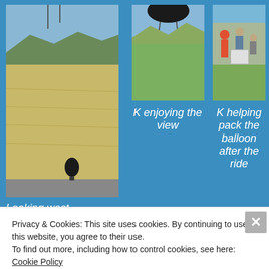[Figure (photo): Aerial/landscape view looking west with hot air balloon visible below]
[Figure (photo): K enjoying the view from hot air balloon]
[Figure (photo): K helping pack the balloon after the ride]
Looking west
K enjoying the view
K helping pack the balloon after the ride
Advertisements
[Figure (logo): WooCommerce advertisement banner with purple and white design]
Privacy & Cookies: This site uses cookies. By continuing to use this website, you agree to their use.
To find out more, including how to control cookies, see here: Cookie Policy
Close and accept